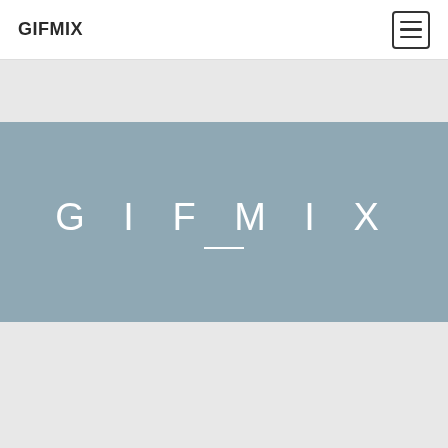GIFMIX
GIFMIX
[Figure (photo): Casino poker chips stacked on a laptop keyboard with playing cards showing J, Q, K, A spread underneath. Red chips marked 5, dark chips marked 10, purple chips marked 13, light chips marked 1.]